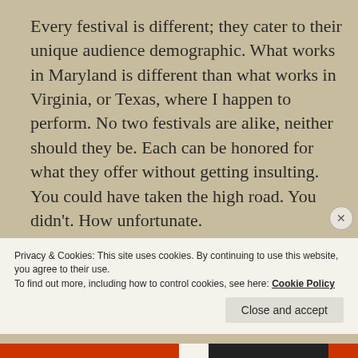Every festival is different; they cater to their unique audience demographic. What works in Maryland is different than what works in Virginia, or Texas, where I happen to perform. No two festivals are alike, neither should they be. Each can be honored for what they offer without getting insulting. You could have taken the high road. You didn't. How unfortunate.

Know that freedom of speech does not protect you from the consequences of being a right bastard...
Privacy & Cookies: This site uses cookies. By continuing to use this website, you agree to their use.
To find out more, including how to control cookies, see here: Cookie Policy
Close and accept